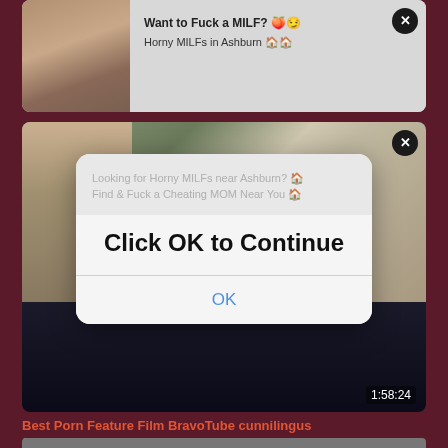[Figure (screenshot): Ad card with woman thumbnail and text: Want to Fuck a MILF? with emoji, Horny MILFs in Ashburn with emoji, close button]
[Figure (screenshot): Video thumbnail card showing woman seated, dark video below, duration 1:58:24, close button, overlaid dialog]
Click OK to Continue
OK
Best Porn Feature Film BravoTube cunnilingus
6390